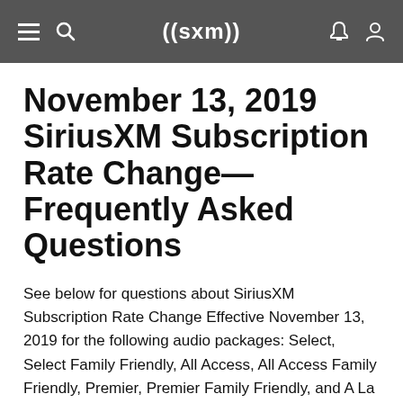((sxm))
November 13, 2019 SiriusXM Subscription Rate Change—Frequently Asked Questions
See below for questions about SiriusXM Subscription Rate Change Effective November 13, 2019 for the following audio packages: Select, Select Family Friendly, All Access, All Access Family Friendly, Premier, Premier Family Friendly, and A La Carte.
For questions about the SiriusXM Subscription Rate